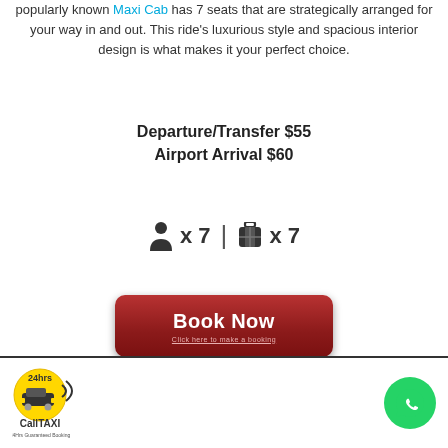popularly known Maxi Cab has 7 seats that are strategically arranged for your way in and out. This ride's luxurious style and spacious interior design is what makes it your perfect choice.
Departure/Transfer $55
Airport Arrival $60
[Figure (infographic): Passenger and luggage capacity icons: person icon x 7 | bag icon x 7]
[Figure (other): Book Now button - dark red rounded rectangle with 'Book Now' in white bold text and 'Click here to make a booking' subtitle]
CallTAXI 24hrs logo on left, WhatsApp icon button on right